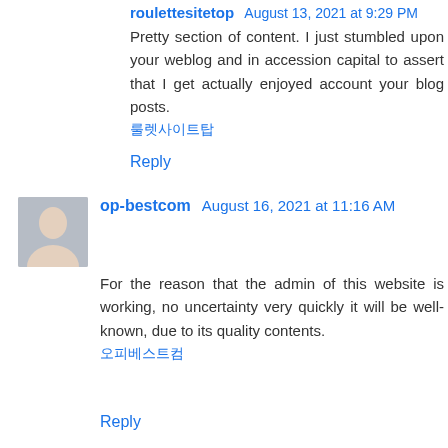roulettesitetop August 13, 2021 at 9:29 PM
Pretty section of content. I just stumbled upon your weblog and in accession capital to assert that I get actually enjoyed account your blog posts.
룰렛사이트탑
Reply
op-bestcom August 16, 2021 at 11:16 AM
For the reason that the admin of this website is working, no uncertainty very quickly it will be well-known, due to its quality contents.
오피베스트컴
Reply
casinositehomecom August 17, 2021 at 6:43 AM
Fantastic blog! Do you have any helpful hints for aspiring writers?